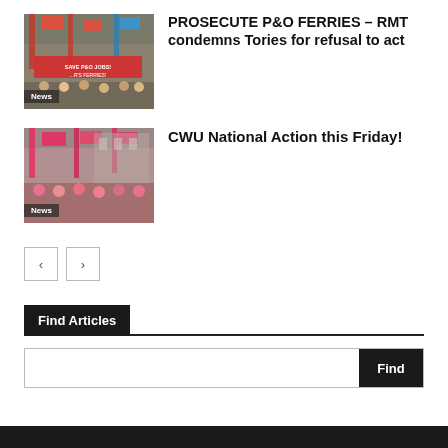[Figure (photo): Protest crowd with banners including 'Save P&O Jobs' and union flags, labelled News]
PROSECUTE P&O FERRIES – RMT condemns Tories for refusal to act
[Figure (photo): Protest crowd with pink banners and flags, labelled News]
CWU National Action this Friday!
Find Articles
Find